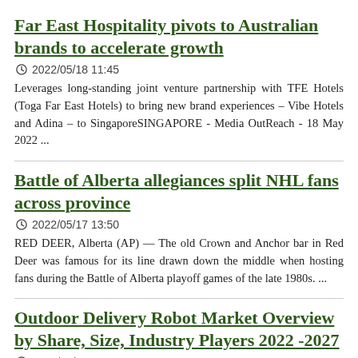Far East Hospitality pivots to Australian brands to accelerate growth
2022/05/18 11:45
Leverages long-standing joint venture partnership with TFE Hotels (Toga Far East Hotels) to bring new brand experiences – Vibe Hotels and Adina – to SingaporeSINGAPORE - Media OutReach - 18 May 2022 ...
Battle of Alberta allegiances split NHL fans across province
2022/05/17 13:50
RED DEER, Alberta (AP) — The old Crown and Anchor bar in Red Deer was famous for its line drawn down the middle when hosting fans during the Battle of Alberta playoff games of the late 1980s. ...
Outdoor Delivery Robot Market Overview by Share, Size, Industry Players 2022 -2027
2022/05/12 06:05